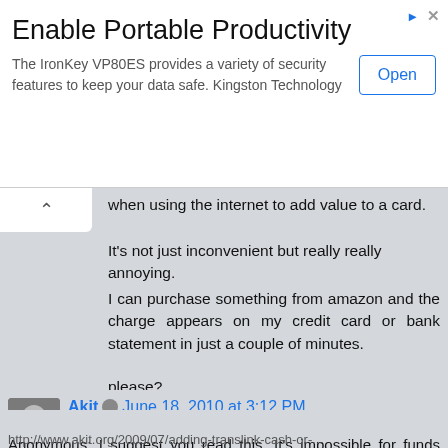[Figure (infographic): Advertisement banner for IronKey VP80ES by Kingston Technology. Title: 'Enable Portable Productivity'. Description: 'The IronKey VP80ES provides a variety of security features to keep your data safe. Kingston Technology'. Button: 'Open']
when using the internet to add value to a card.
It's not just inconvenient but really really annoying.
I can purchase something from amazon and the charge appears on my credit card or bank statement in just a couple of minutes.
please?
Reply
Akit  June 18, 2010 at 3:12 PM
Anonymous: I suggest you read this. It's impossible for funds purchased over the web to be available instantly:
http://www.akit.org/2009/07/adding-translink-cash-or-...